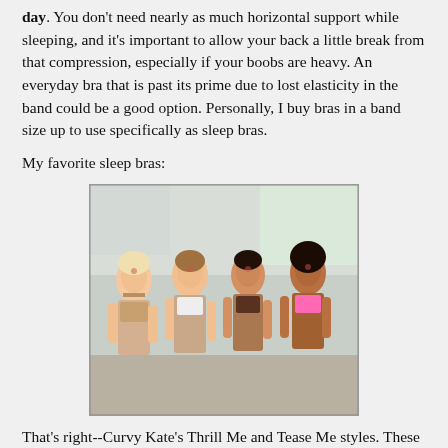day. You don't need nearly as much horizontal support while sleeping, and it's important to allow your back a little break from that compression, especially if your boobs are heavy. An everyday bra that is past its prime due to lost elasticity in the band could be a good option. Personally, I buy bras in a band size up to use specifically as sleep bras.
My favorite sleep bras:
[Figure (photo): Four women posing together in lingerie/bras, in a light-colored room setting.]
That's right--Curvy Kate's Thrill Me and Tease Me styles. These bras tick all the boxes for a perfect sleep bra--a high gore, a compact rounded shape that supports but doesn't smash me